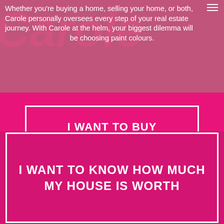Whether you're buying a home, selling your home, or both, Carole personally oversees every step of your real estate journey. With Carole at the helm, your biggest dilemma will be choosing paint colours.
I WANT TO BUY
I WANT TO SELL
I WANT TO KNOW HOW MUCH MY HOUSE IS WORTH